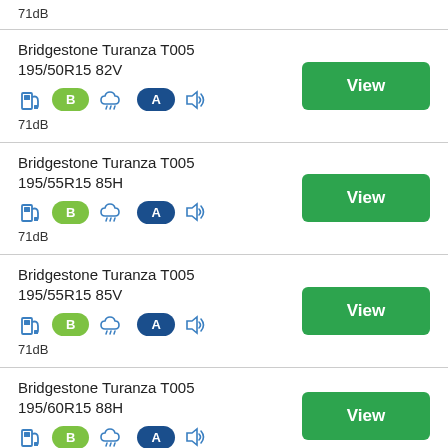71dB
Bridgestone Turanza T005 195/50R15 82V
71dB
Bridgestone Turanza T005 195/55R15 85H
71dB
Bridgestone Turanza T005 195/55R15 85V
71dB
Bridgestone Turanza T005 195/60R15 88H